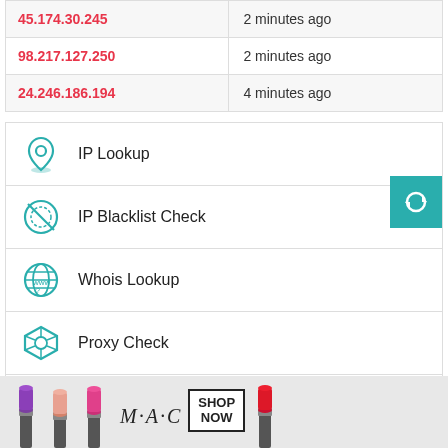| IP | Time |
| --- | --- |
| 45.174.30.245 | 2 minutes ago |
| 98.217.127.250 | 2 minutes ago |
| 24.246.186.194 | 4 minutes ago |
IP Lookup
IP Blacklist Check
Whois Lookup
Proxy Check
DNS Lookup
IP to Hostname lookup
[Figure (infographic): MAC cosmetics advertisement banner with lipsticks and SHOP NOW button]